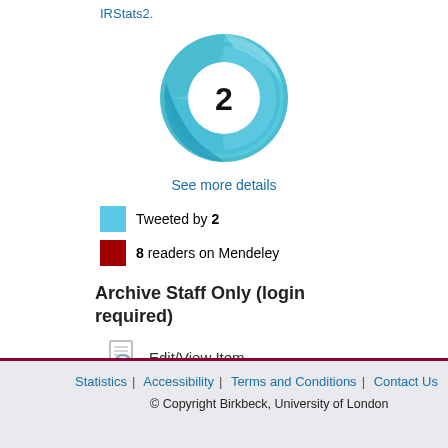IRStats2.
[Figure (other): Altmetric donut chart showing score of 2, with swirling teal/blue ring logo around a white circle containing the number 2]
See more details
Tweeted by 2
8 readers on Mendeley
Archive Staff Only (login required)
Edit/View Item
Statistics | Accessibility | Terms and Conditions | Contact Us
© Copyright Birkbeck, University of London